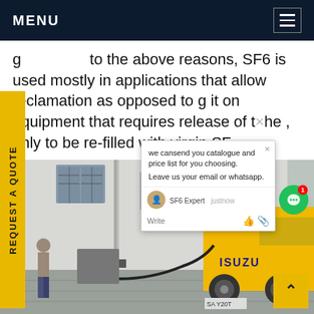MENU
g... to the above reasons, SF6 is used mostly in applications that allow reclamation as opposed to g it on equipment that requires release of the , only to be re-filled with virgin SF
[Figure (photo): Yellow ISUZU truck connected with hose to industrial equipment outside a building, with a person standing nearby. Chat popup overlay visible on top right with message about catalogue and price list.]
we cansend you catalogue and price list for you choosing. Leave us your email or whatsapp.
SF6 Expert   justnow
Write